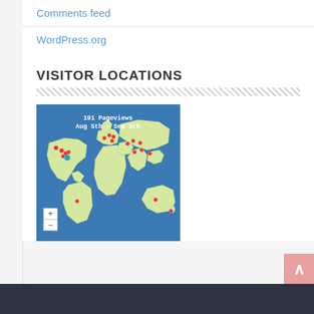Comments feed
WordPress.org
VISITOR LOCATIONS
[Figure (map): World map widget showing 191 Pageviews from Aug 5th – Sep 5th with red dot markers on visitor locations across North America, Europe, Asia, Australia, and South America. Zoom controls (+/-) visible in lower left.]